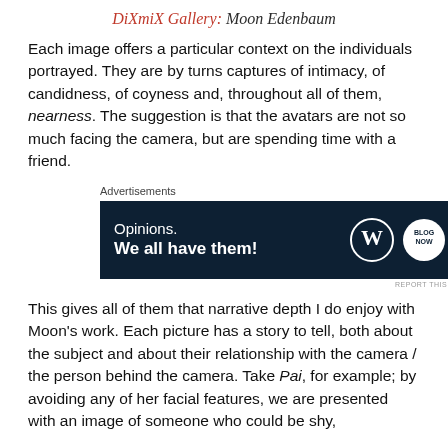DiXmiX Gallery: Moon Edenbaum
Each image offers a particular context on the individuals portrayed. They are by turns captures of intimacy, of candidness, of coyness and, throughout all of them, nearness. The suggestion is that the avatars are not so much facing the camera, but are spending time with a friend.
[Figure (other): Advertisement banner with dark navy background. Text reads 'Opinions. We all have them!' with WordPress logo and another circular logo on the right.]
This gives all of them that narrative depth I do enjoy with Moon's work. Each picture has a story to tell, both about the subject and about their relationship with the camera / the person behind the camera. Take Pai, for example; by avoiding any of her facial features, we are presented with an image of someone who could be shy,